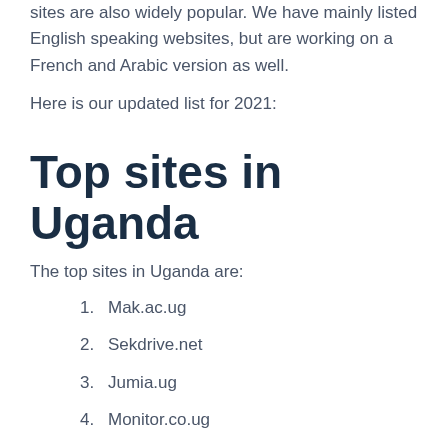sites are also widely popular. We have mainly listed English speaking websites, but are working on a French and Arabic version as well.
Here is our updated list for 2021:
Top sites in Uganda
The top sites in Uganda are:
1. Mak.ac.ug
2. Sekdrive.net
3. Jumia.ug
4. Monitor.co.ug
5. Ura.go.ug